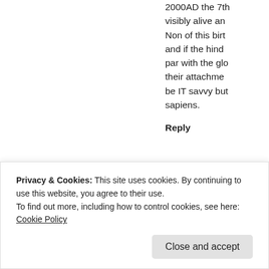2000AD the 7th... visibly alive an... Non of this birt... and if the hind... par with the glo... their attachme... be IT savvy but... sapiens.
Reply
powerslave
October 11, 2010
The very fact th... government wa... excavation sho...
Privacy & Cookies: This site uses cookies. By continuing to use this website, you agree to their use.
To find out more, including how to control cookies, see here: Cookie Policy
Close and accept